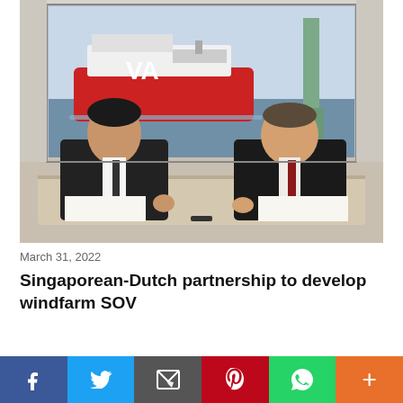[Figure (photo): Two men in dark suits signing documents at a table in front of a projected screen showing a red and white offshore support vessel with 'VA' branding near a wind turbine at sea.]
March 31, 2022
Singaporean-Dutch partnership to develop windfarm SOV
[Figure (infographic): Social sharing bar with buttons for Facebook (blue), Twitter (light blue), Email (dark gray), Pinterest (red), WhatsApp (green), and More (orange).]